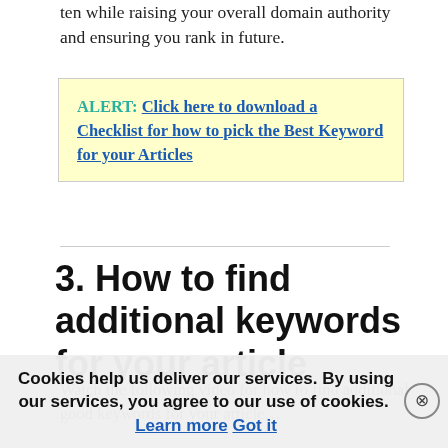ten while raising your overall domain authority and ensuring you rank in future.
ALERT: Click here to download a Checklist for how to pick the Best Keyword for your Articles
3. How to find additional keywords for your article
Watch the following video for how to find additional good keywords for your article...
Cookies help us deliver our services. By using our services, you agree to our use of cookies. Learn more Got it